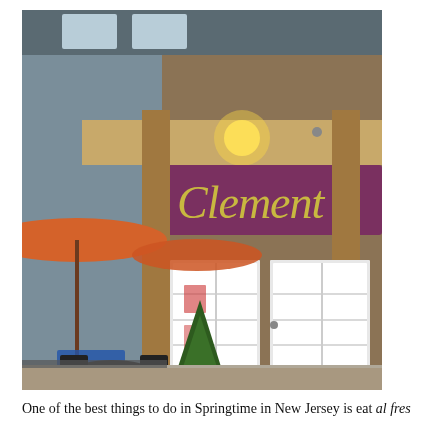[Figure (photo): Exterior photo of Clement's restaurant at dusk. Shows the storefront with a purple/maroon sign reading 'Clement' in gold script lettering. An orange patio umbrella is visible on the left side along with outdoor tables and chairs. The entrance has white French doors with glass panes. A decorative potted evergreen tree sits near the entrance. Warm overhead lighting illuminates the wooden facade.]
One of the best things to do in Springtime in New Jersey is eat al fres... There are 33... and best... the alfresco in this...